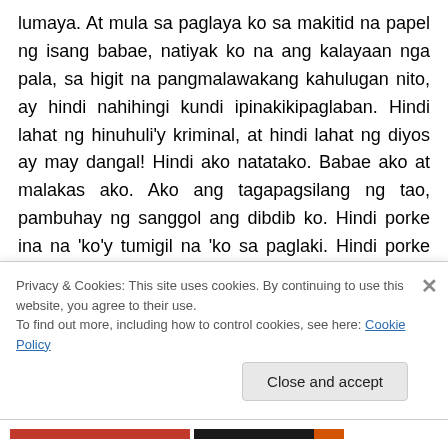lumaya. At mula sa paglaya ko sa makitid na papel ng isang babae, natiyak ko na ang kalayaan nga pala, sa higit na pangmalawakang kahulugan nito, ay hindi nahihingi kundi ipinakikipaglaban. Hindi lahat ng hinuhuli'y kriminal, at hindi lahat ng diyos ay may dangal! Hindi ako natatako. Babae ako at malakas ako. Ako ang tagapagsilang ng tao, pambuhay ng sanggol ang dibdib ko. Hindi porke ina na 'ko'y tumigil na 'ko sa paglaki. Hindi porke babae ako'y maiiwan ako sa labanan. Para sa kaligtasan ng lipunan at kinabukasan ng mga anak ko sa digmaan ng mga uri't prinsipyo, sa mapayapa man o maduong pagbabago,
Privacy & Cookies: This site uses cookies. By continuing to use this website, you agree to their use. To find out more, including how to control cookies, see here: Cookie Policy
Close and accept